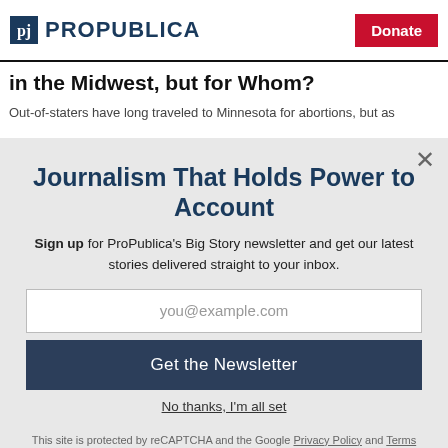ProPublica — Donate
in the Midwest, but for Whom?
Out-of-staters have long traveled to Minnesota for abortions, but as
Journalism That Holds Power to Account
Sign up for ProPublica's Big Story newsletter and get our latest stories delivered straight to your inbox.
you@example.com
Get the Newsletter
No thanks, I'm all set
This site is protected by reCAPTCHA and the Google Privacy Policy and Terms of Service apply.